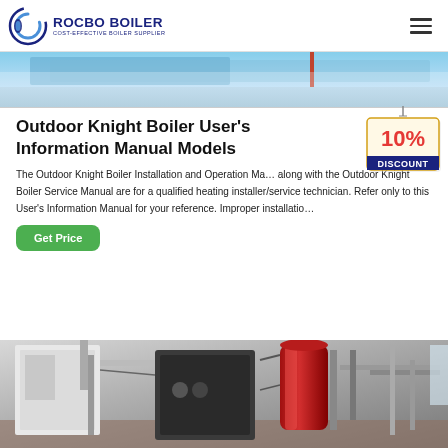ROCBO BOILER — COST-EFFECTIVE BOILER SUPPLIER
[Figure (photo): Top banner photo showing outdoor construction/industrial scene with blue sky and equipment]
Outdoor Knight Boiler User's Information Manual Models
[Figure (other): 10% DISCOUNT badge/tag hanging graphic]
The Outdoor Knight Boiler Installation and Operation Manual along with the Outdoor Knight Boiler Service Manual are for a qualified heating installer/service technician. Refer only to this User's Information Manual for your reference. Improper installatio...
[Figure (photo): Bottom photo showing industrial boiler equipment with red cylindrical component and dark metal structures in an indoor facility]